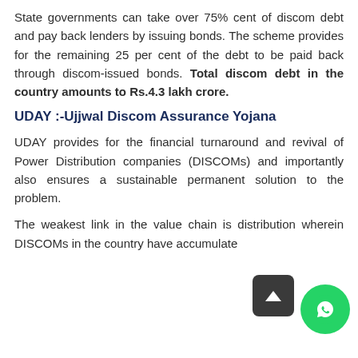State governments can take over 75% cent of discom debt and pay back lenders by issuing bonds. The scheme provides for the remaining 25 per cent of the debt to be paid back through discom-issued bonds. Total discom debt in the country amounts to Rs.4.3 lakh crore.
UDAY :-Ujjwal Discom Assurance Yojana
UDAY provides for the financial turnaround and revival of Power Distribution companies (DISCOMs) and importantly also ensures a sustainable permanent solution to the problem.
The weakest link in the value chain is distribution wherein DISCOMs in the country have accumulated